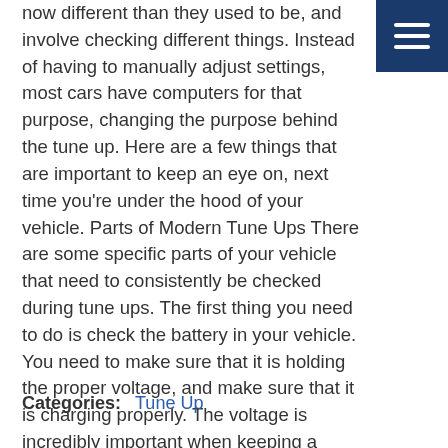now different than they used to be, and involve checking different things. Instead of having to manually adjust settings, most cars have computers for that purpose, changing the purpose behind the tune up. Here are a few things that are important to keep an eye on, next time you're under the hood of your vehicle. Parts of Modern Tune Ups There are some specific parts of your vehicle that need to consistently be checked during tune ups. The first thing you need to do is check the battery in your vehicle. You need to make sure that it is holding the proper voltage, and make sure that it is charging properly. The voltage is incredibly important when keeping a vehicle maintained due to the internal computer in most modern cars. ... Read More
Categories:  Tune Up